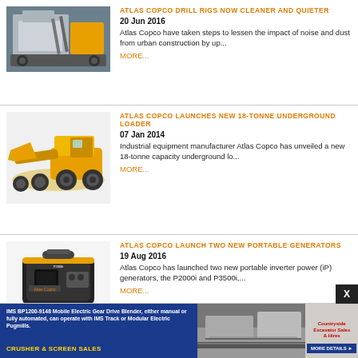[Figure (photo): Atlas Copco drill rig machine, grey and yellow industrial equipment]
ATLAS COPCO DRILL RIGS NOW CLEANER AND QUIETER
20 Jun 2016
Atlas Copco have taken steps to lessen the impact of noise and dust from urban construction by up...
MORE...
[Figure (photo): Atlas Copco 18-tonne underground loader, yellow heavy equipment]
ATLAS COPCO LAUNCHES NEW 18-TONNE UNDERGROUND LOADER
07 Jan 2014
Industrial equipment manufacturer Atlas Copco has unveiled a new 18-tonne capacity underground lo...
MORE...
[Figure (photo): Atlas Copco portable generator, black and yellow compact unit]
ATLAS COPCO LAUNCH TWO NEW PORTABLE GENERATORS
19 Aug 2016
Atlas Copco has launched two new portable inverter power (iP) generators, the P2000i and P3500i,...
MORE...
[Figure (other): Advertisement banner: IMS BP1200-9148 Mobile Electric Gear Drive Blender with Crusher & Screen Sales]